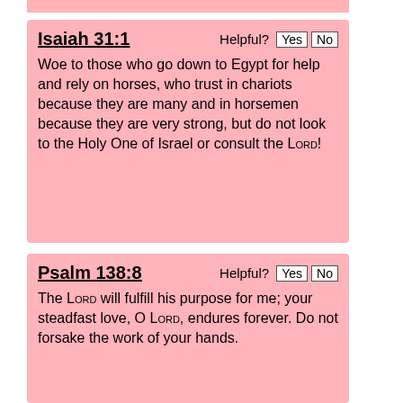Isaiah 31:1
Woe to those who go down to Egypt for help and rely on horses, who trust in chariots because they are many and in horsemen because they are very strong, but do not look to the Holy One of Israel or consult the LORD!
Psalm 138:8
The LORD will fulfill his purpose for me; your steadfast love, O LORD, endures forever. Do not forsake the work of your hands.